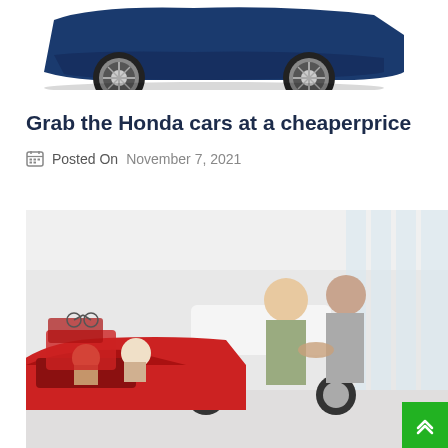[Figure (photo): Bottom portion of a blue Honda car shown from a low angle on white background]
Grab the Honda cars at a cheaperprice
Posted On November 7, 2021
[Figure (photo): Car dealership showroom with people interacting near cars, a red convertible in foreground with family, and a man shaking hands with a saleswoman in background]